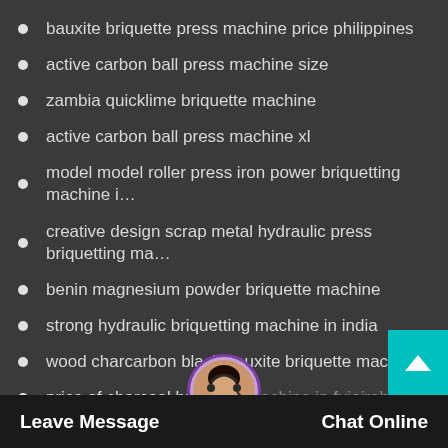bauxite briquette press machine price philippines
active carbon ball press machine size
zambia quicklime briquette machine
active carbon ball press machine xl
model model roller press iron power briquetting machine i…
creative design scrap metal hydraulic press briquetting ma…
benin magnesium powder briquette machine
strong hydraulic briquetting machine in india
wood charcarbon black bauxite briquette machine
price of charcoal briquette machine in fujairah
hydrostatic pressure briquetting machine indonesia zip code
Leave Message   Chat Online